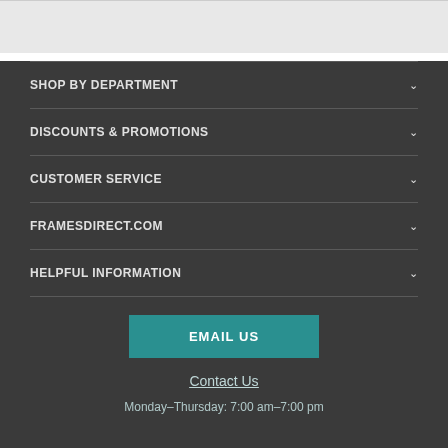SHOP BY DEPARTMENT
DISCOUNTS & PROMOTIONS
CUSTOMER SERVICE
FRAMESDIRECT.COM
HELPFUL INFORMATION
EMAIL US
Contact Us
Monday–Thursday: 7:00 am–7:00 pm